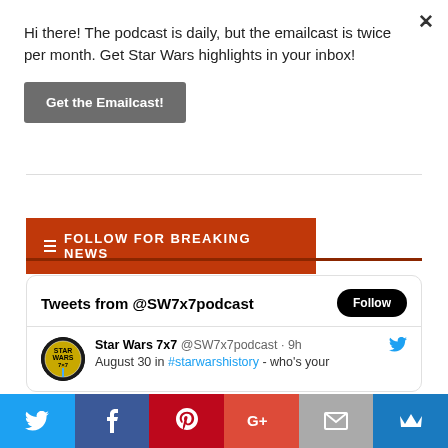Hi there! The podcast is daily, but the emailcast is twice per month. Get Star Wars highlights in your inbox!
Get the Emailcast!
FOLLOW FOR BREAKING NEWS
Tweets from @SW7x7podcast
Star Wars 7x7 @SW7x7podcast · 9h
August 30 in #starwarshistory - who's your